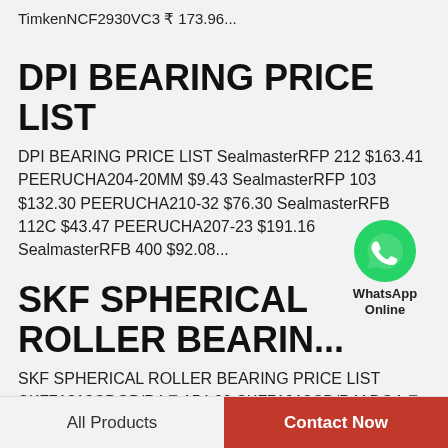TimkenNCF2930VC3 ₹ 173.96...
DPI BEARING PRICE LIST
DPI BEARING PRICE LIST SealmasterRFP 212 $163.41 PEERUCHA204-20MM $9.43 SealmasterRFP 103 $132.30 PEERUCHA210-32 $76.30 SealmasterRFB 112C $43.47 PEERUCHA207-23 $191.16 SealmasterRFB 400 $92.08...
[Figure (logo): WhatsApp green icon with phone symbol, labeled WhatsApp Online]
SKF SPHERICAL ROLLER BEARIN...
SKF SPHERICAL ROLLER BEARING PRICE LIST SKF71818CDGB/P4 ₹ 154.00 SKF71913CD/P4ADGA ₹ 78.73 SKF71918ACD/P4ADGB ₹ 164.18 SKF71913CD/P4ADGB ₹ 48.07 SKF71918ACD/P4ADGA ₹ 153.78
All Products | Contact Now